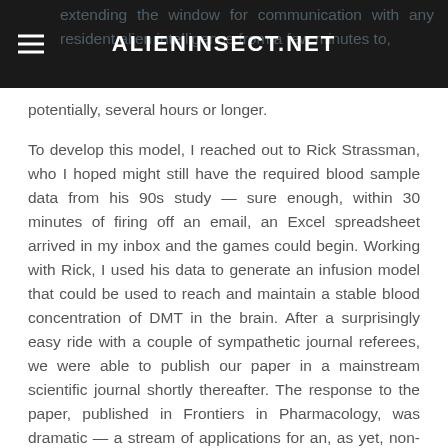ALIENINSECT.NET
potentially, several hours or longer.
To develop this model, I reached out to Rick Strassman, who I hoped might still have the required blood sample data from his 90s study — sure enough, within 30 minutes of firing off an email, an Excel spreadsheet arrived in my inbox and the games could begin. Working with Rick, I used his data to generate an infusion model that could be used to reach and maintain a stable blood concentration of DMT in the brain. After a surprisingly easy ride with a couple of sympathetic journal referees, we were able to publish our paper in a mainstream scientific journal shortly thereafter. The response to the paper, published in Frontiers in Pharmacology, was dramatic — a stream of applications for an, as yet, non-existent study in humans, flooded my inbox. This was followed by a number of articles describing the technology in various online publications. Looking back